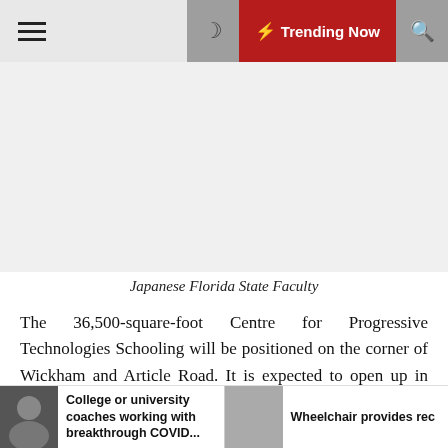≡  🌙  ⚡ Trending Now  🔍
[Figure (other): Blank advertisement area]
Japanese Florida State Faculty
The 36,500-square-foot Centre for Progressive Technologies Schooling will be positioned on the corner of Wickham and Article Road. It is expected to open up in 2024 as the final stage of the Melbourne campus' ongoing 10-calendar year strategy.
NASA and more than 50 providers, like Lockheed Martin,
College or university coaches working with breakthrough COVID...   Wheelchair provides rec